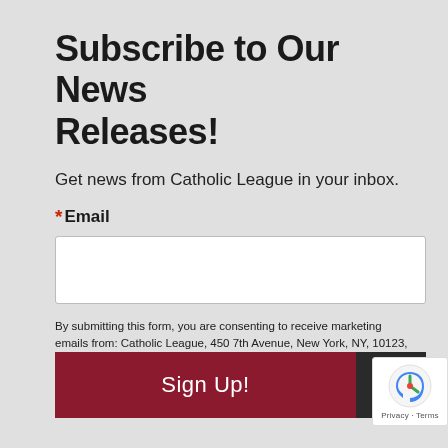Subscribe to Our News Releases!
Get news from Catholic League in your inbox.
*Email
By submitting this form, you are consenting to receive marketing emails from: Catholic League, 450 7th Avenue, New York, NY, 10123, US. You can revoke your consent to receive emails at any time by using the SafeUnsubscribe® link, found at the bottom of every email. Emails are serviced by Constant Contact.
[Figure (other): Sign Up button (dark red) with an upward arrow button (dark), and a reCAPTCHA badge on the right]